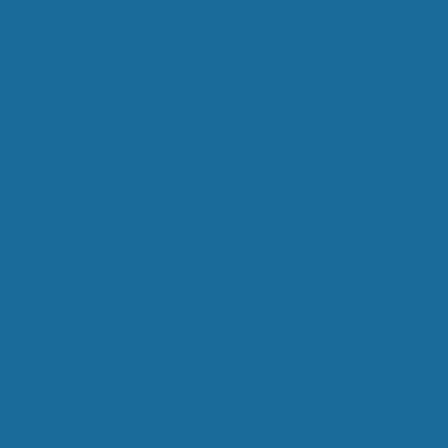| Code | Description |
| --- | --- |
| 182/2020 | Inclusion of Loo... Incen... |
| 181/2020 | Inclusion of au... |
| 180/2020 | Additional circu... rake (22.9 ton t... |
| 179/2020 | Notification of ac... for 1st, 3rd and... M/s TM intern... |
| 178/2020 | Permission for a... (with 22.9 ton a... |
| 177/2020 | Clas... |
| 176/2020 | Permissible Car... |
| 175/2020 | Discount or... |
| 174/2020 | No stabl... |
| 173/2020 | Ope... |